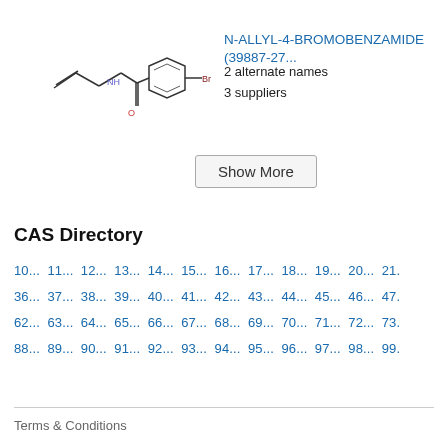N-ALLYL-4-BROMOBENZAMIDE (39887-27...
[Figure (illustration): Chemical structure of N-Allyl-4-bromobenzamide showing allyl group connected via NH to a benzamide with bromine substituent]
2 alternate names
3 suppliers
Show More
CAS Directory
10... 11... 12... 13... 14... 15... 16... 17... 18... 19... 20... 21.
36... 37... 38... 39... 40... 41... 42... 43... 44... 45... 46... 47.
62... 63... 64... 65... 66... 67... 68... 69... 70... 71... 72... 73.
88... 89... 90... 91... 92... 93... 94... 95... 96... 97... 98... 99.
Terms & Conditions